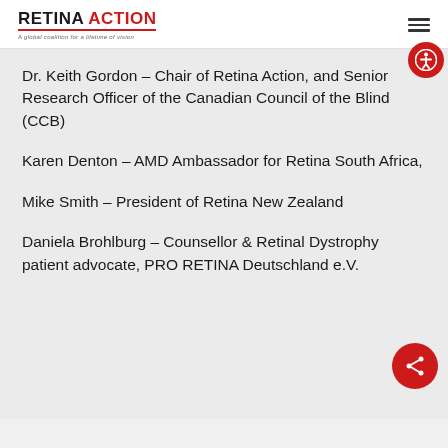RETINA ACTION – A global coalition for a lifetime of vision
Dr. Keith Gordon – Chair of Retina Action, and Senior Research Officer of the Canadian Council of the Blind (CCB)
Karen Denton – AMD Ambassador for Retina South Africa,
Mike Smith – President of Retina New Zealand
Daniela Brohlburg – Counsellor & Retinal Dystrophy patient advocate, PRO RETINA Deutschland e.V.